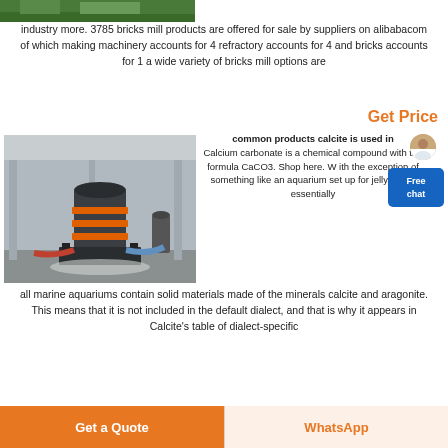[Figure (photo): Industrial or factory building exterior view, green roof visible at top]
industry more. 3785 bricks mill products are offered for sale by suppliers on alibabacom of which making machinery accounts for 4 refractory accounts for 4 and bricks accounts for 1 a wide variety of bricks mill options are
Get Price
[Figure (photo): Industrial grinding/milling machine in a factory setting with gravel on floor]
common products calcite is used in Calcium carbonate is a chemical compound with the formula CaCO3. Shop here. W ith the exception of something like an aquarium set up for jellyfishes, essentially
all marine aquariums contain solid materials made of the minerals calcite and aragonite. This means that it is not included in the default dialect, and that is why it appears in Calcite's table of dialect-specific
Get a Quote
WhatsApp